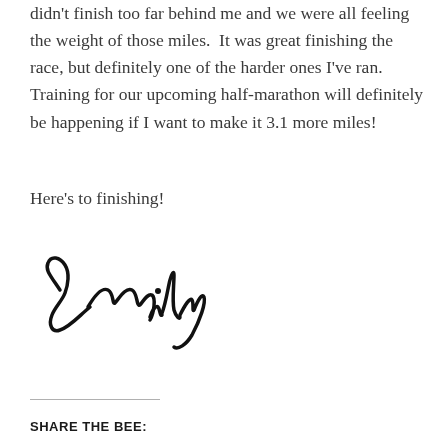didn't finish too far behind me and we were all feeling the weight of those miles.  It was great finishing the race, but definitely one of the harder ones I've ran.  Training for our upcoming half-marathon will definitely be happening if I want to make it 3.1 more miles!
Here's to finishing!
[Figure (illustration): Handwritten cursive signature reading 'Emily']
SHARE THE BEE: